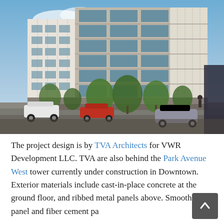[Figure (photo): Architectural rendering of a modern 6-7 story residential building with white/cream facade panels and horizontal ribbon windows, street-level concrete base with trees, and parked cars in foreground under a blue sky.]
The project design is by TVA Architects for VWR Development LLC. TVA are also behind the Park Avenue West tower currently under construction in Downtown. Exterior materials include cast-in-place concrete at the ground floor, and ribbed metal panels above. Smooth metal panel and fiber cement pa…